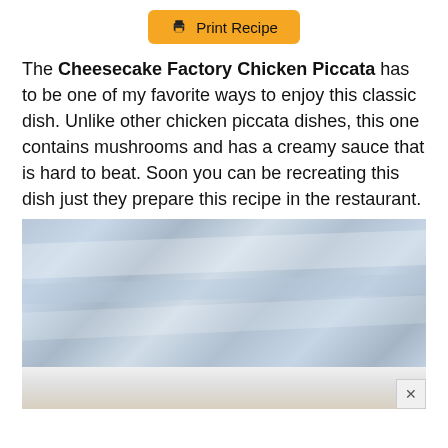Print Recipe
The Cheesecake Factory Chicken Piccata has to be one of my favorite ways to enjoy this classic dish. Unlike other chicken piccata dishes, this one contains mushrooms and has a creamy sauce that is hard to beat. Soon you can be recreating this dish just they prepare this recipe in the restaurant.
[Figure (photo): Close-up photo of a folded light blue/grey fabric or napkin on a white background, with another dish partially visible below]
[Figure (photo): Bottom portion of a dish or plate, partially visible, with a close button (×) overlay in the bottom-right corner]